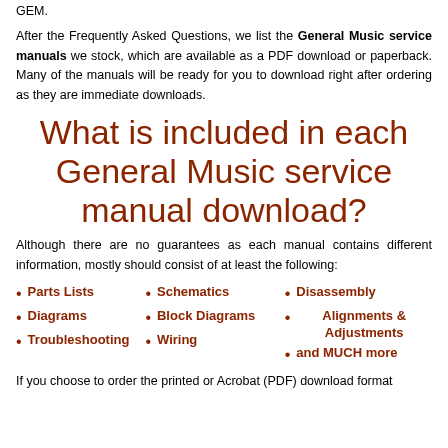GEM.
After the Frequently Asked Questions, we list the General Music service manuals we stock, which are available as a PDF download or paperback. Many of the manuals will be ready for you to download right after ordering as they are immediate downloads.
What is included in each General Music service manual download?
Although there are no guarantees as each manual contains different information, mostly should consist of at least the following:
Parts Lists
Diagrams
Troubleshooting
Schematics
Block Diagrams
Wiring
Disassembly
Alignments & Adjustments
and MUCH more
If you choose to order the printed or Acrobat (PDF) download format